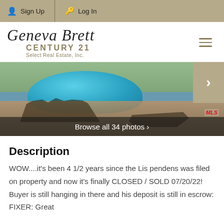Sign Up  Log In
[Figure (logo): Geneva Brett Century 21 Select Real Estate, Inc. logo with cursive script and hamburger menu icon]
[Figure (photo): Outdoor swimming pool with patio furniture (table and chairs with umbrella) and lounge chairs, paved deck surroundings. Navigation arrow on right side. Browse all 34 photos bar at bottom.]
Description
WOW....it's been 4 1/2 years since the Lis pendens was filed on property and now it's finally CLOSED / SOLD 07/20/22! Buyer is still hanging in there and his deposit is still in escrow: FIXER: Great